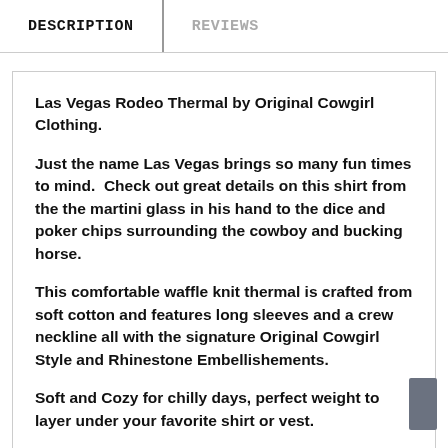DESCRIPTION
REVIEWS
Las Vegas Rodeo Thermal by Original Cowgirl Clothing.

Just the name Las Vegas brings so many fun times to mind.  Check out great details on this shirt from the the martini glass in his hand to the dice and poker chips surrounding the cowboy and bucking horse.

This comfortable waffle knit thermal is crafted from soft cotton and features long sleeves and a crew neckline all with the signature Original Cowgirl Style and Rhinestone Embellishements.

Soft and Cozy for chilly days, perfect weight to layer under your favorite shirt or vest.